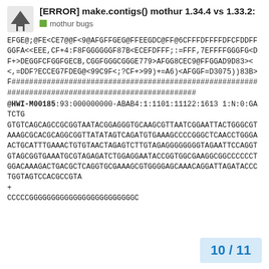[ERROR] make.contigs() mothur 1.34.4 vs 1.33.2:
mothur bugs
EFGE@;@FE<CE7@@F<9@AFGFFGEG@FFEEGDC@FF@6CFFFDFFFFDFCFDDFFGGFA<<EEE,CF+4:F8FGGGGGGF87B<ECEFDFFF;:=FFF,7EFFFFGGGFG<DF+>DEGGFCFGGFGECB,CGGFGGGCGGGE779>AFGG8CEC9@FFGGAD9D83><<,=DDF?ECCEG7FDEG@<99C9F<;?CF+>99)+=A6)<AFGGF=D3075))83B>F###################################################################################################
@HWI-M00185:93:000000000-ABAB4:1:1101:11122:1613 1:N:0:GATCTG
GTGTCAGCAGCCGCGGTAATACGGAGGGTGCAAGCGTTAATCGGAATTACTGGGCGTAAAGCGCACGCAGGCGGTTATATAAGTCAGATGTGAAAGCCCCGGGCTCAACCTGGGAACTGCATTTGAAACTGTGTAACTAGAGTCTTGTAGAGGGGGGGTAGAATTCCAGGTGTAGCGGTGAAATGCGTAGAGATCTGGAGGAATACCGGTGGCGAAGGCGGCCCCCTGGACAAGACTGACGCTCAGGTGCGAAAGCGTGGGGAGCAACAGGATTAGATACCCTGGTAGTCCACGCCGTA
+
CCCCCCGGGGGGGGGGGGGGGGGGGGGGGGC